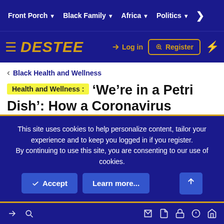Front Porch ▾  Black Family ▾  Africa ▾  Politics ▾  >
≡ DESTEE  → Log in  🔑 Register  ⚡
< Black Health and Wellness
Health and Wellness : 'We're in a Petri Dish': How a Coronavirus Ravaged a Cruise Ship into Worldwide Pandemic
Clyde C Coger Jr · Feb 25, 2020 · 4K · 183K
This site uses cookies to help personalize content, tailor your experience and to keep you logged in if you register.
By continuing to use this site, you are consenting to our use of cookies.
→ 🔑  ✉ 📄 🔒 ℹ 🏠